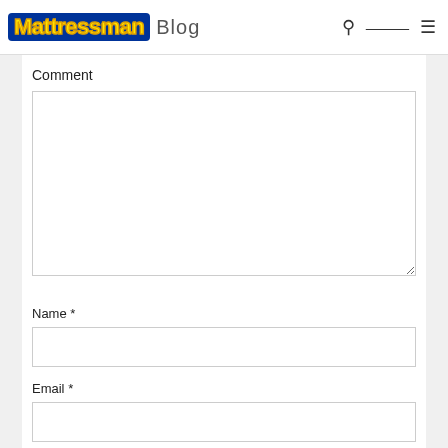Mattressman Blog
Comment
Name *
Email *